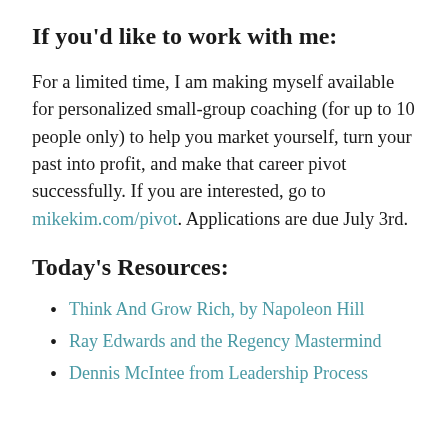If you'd like to work with me:
For a limited time, I am making myself available for personalized small-group coaching (for up to 10 people only) to help you market yourself, turn your past into profit, and make that career pivot successfully. If you are interested, go to mikekim.com/pivot. Applications are due July 3rd.
Today's Resources:
Think And Grow Rich, by Napoleon Hill
Ray Edwards and the Regency Mastermind
Dennis McIntee from Leadership Process